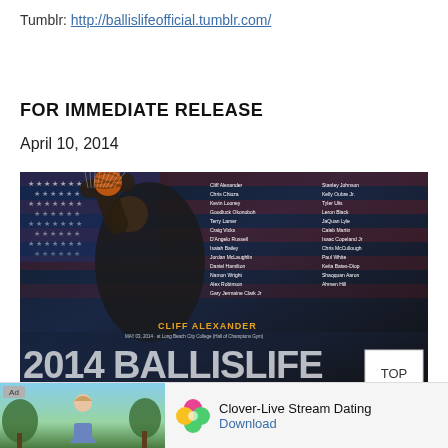Tumblr: http://ballislifeofficial.tumblr.com/
FOR IMMEDIATE RELEASE
April 10, 2014
[Figure (photo): 2014 Ballislife All American Game promotional poster featuring Cliff Alexander dunking in front of an American flag background. The poster lists player names including Cliff Alexander, Stanley Johnson, Chris Chioza, Kelly Oubre Jr., Kevin Looney, Tyler Ulis, Goodluck Okonoboh, Leron Black, Terry Larner, JaQuan Lyle, Craig Victor, Caleb Martin, D'Angelo Russell, Isaac Copeland Jr., Isaiah Bailey, Chris McCullough, Jordan McLaughlin, Paul White, Daniel Hamilton, Keita Bates-Diop, Namon Wright, Shaqquan Aaron, Alex Robinson, Ahmen Hill, Gary Jermaine Clark Jr. Event: May 03, 2014 at Long Beach City College Hall of Champions Gym.]
[Figure (screenshot): Advertisement banner for Clover-Live Stream Dating app showing the Clover app logo (colorful four-leaf clover) and Download link]
Ad - Clover-Live Stream Dating - Download